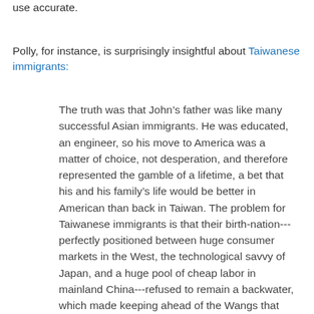use accurate.
Polly, for instance, is surprisingly insightful about Taiwanese immigrants:
The truth was that John’s father was like many successful Asian immigrants. He was educated, an engineer, so his move to America was a matter of choice, not desperation, and therefore represented the gamble of a lifetime, a bet that his and his family’s life would be better in American than back in Taiwan. The problem for Taiwanese immigrants is that their birth-nation---perfectly positioned between huge consumer markets in the West, the technological savvy of Japan, and a huge pool of cheap labor in mainland China---refused to remain a backwater, which made keeping ahead of the Wangs that much more stressful. By the late eighties, Taiwanese doctors, engineers, and businessmen were waking up across America to discover that their second-rate classmates who had never